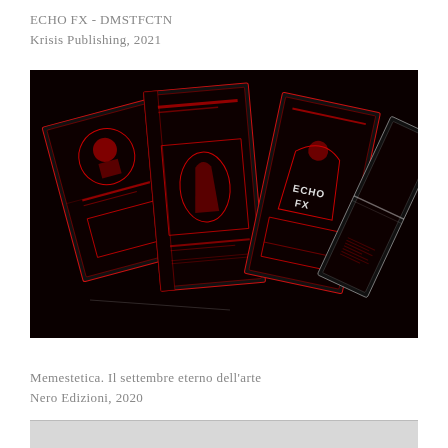ECHO FX - DMSTFCTN
Krisis Publishing, 2021
[Figure (photo): Book/publication spread open and photographed in dark lighting with red and black graphic design covers showing 'ECHO FX' branding, multiple volumes fanned out on a dark surface]
Memestetica. Il settembre eterno dell'arte
Nero Edizioni, 2020
[Figure (photo): Partial view of a publication with light gray/white cover, bottom portion of the page]